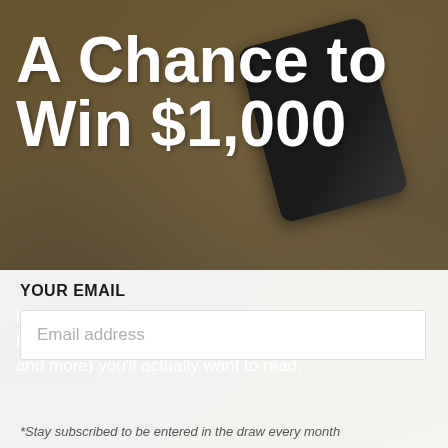A Chance to Win $1,000
in store credit when you sign up for our newsletter. Receive mail (sneak peeks, community updates, and more) you'll actually want to read.
YOUR EMAIL
Email address
*Stay subscribed to be entered in the draw every month